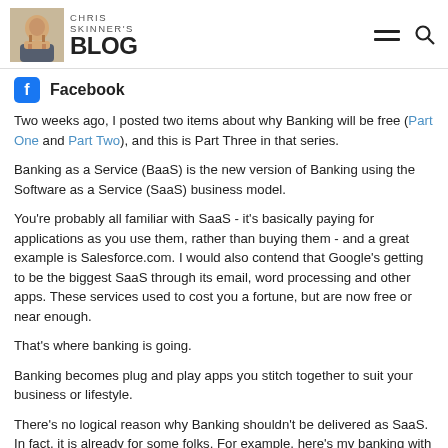Chris Skinner's Blog
Facebook
Two weeks ago, I posted two items about why Banking will be free (Part One and Part Two), and this is Part Three in that series.
Banking as a Service (BaaS) is the new version of Banking using the Software as a Service (SaaS) business model.
You're probably all familiar with SaaS - it's basically paying for applications as you use them, rather than buying them - and a great example is Salesforce.com.  I would also contend that Google's getting to be the biggest SaaS through its email, word processing and other apps.  These services used to cost you a fortune, but are now free or near enough.
That's where banking is going.
Banking becomes plug and play apps you stitch together to suit your business or lifestyle.
There's no logical reason why Banking shouldn't be delivered as SaaS.  In fact, it is already for some folks.  For example, here's my banking with no bank involved:
[Figure (other): BaaS image link placeholder]